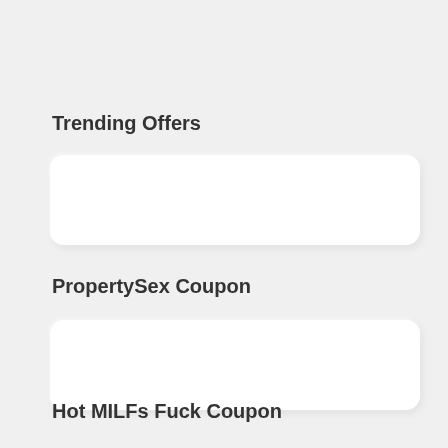Trending Offers
[Figure (other): White rounded card/banner placeholder]
PropertySex Coupon
[Figure (other): White rounded card/banner placeholder]
Hot MILFs Fuck Coupon